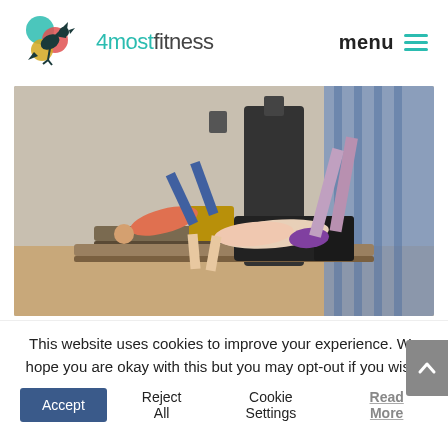[Figure (logo): 4most fitness logo with colorful bird/human silhouette icon in teal, red, yellow, and dark teal colors, next to the text '4most fitness' in teal and dark grey]
menu ≡
[Figure (photo): Two women doing Pilates reformer exercises in a studio. One woman in the foreground wears a light pink top and purple shorts, lying on a dark reformer box with legs raised. Another woman in background wears a blue patterned outfit. Blue curtains visible on the right side.]
This website uses cookies to improve your experience. We hope you are okay with this but you may opt-out if you wish.
Accept
Reject All
Cookie Settings
Read More